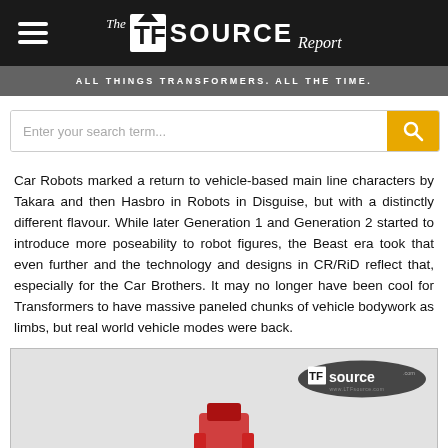The TF Source Report — ALL THINGS TRANSFORMERS. ALL THE TIME.
Enter your search term...
Car Robots marked a return to vehicle-based main line characters by Takara and then Hasbro in Robots in Disguise, but with a distinctly different flavour. While later Generation 1 and Generation 2 started to introduce more poseability to robot figures, the Beast era took that even further and the technology and designs in CR/RiD reflect that, especially for the Car Brothers. It may no longer have been cool for Transformers to have massive paneled chunks of vehicle bodywork as limbs, but real world vehicle modes were back.
[Figure (photo): Partial image of a Transformer toy (Car Brothers) with TFSource.com watermark logo in the upper right]